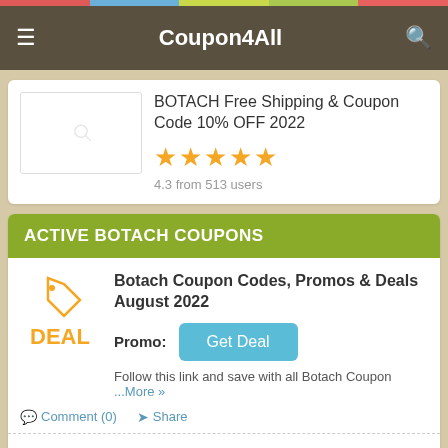Coupon4All
BOTACH Free Shipping & Coupon Code 10% OFF 2022
4.3 from 513 users
ACTIVE BOTACH COUPONS
Botach Coupon Codes, Promos & Deals August 2022
Promo: Get Deal
Follow this link and save with all Botach Coupon ...More »
Comment (0)  Share
Up To 90% OFF Clearance + FREE Shipping